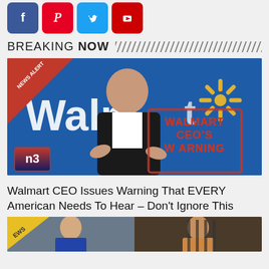[Figure (other): Social media icons: Facebook (blue), Pinterest (red), Twitter (blue), YouTube (red)]
BREAKING NOW
[Figure (photo): Thumbnail image: Walmart CEO speaking in front of Walmart logo, with 'NEWS ALERT' ribbon in top-left corner and 'WALMART CEO'S WARNING' stamp text overlay on the right side. NB logo in bottom-left.]
Walmart CEO Issues Warning That EVERY American Needs To Hear – Don't Ignore This
[Figure (photo): Partial thumbnail strip at bottom showing news segment with person on left and person behind bars on right, with 'EWS' text visible (part of NEWS label).]